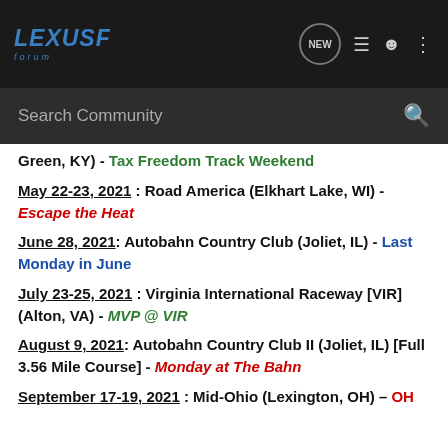Lexus F Forum – header with logo, NEW button, list icon, user icon, dots icon
Search Community
Green, KY) - Tax Freedom Track Weekend
May 22-23, 2021 : Road America (Elkhart Lake, WI) - Escape the Heat
June 28, 2021: Autobahn Country Club (Joliet, IL) - Last Monday in June
July 23-25, 2021 : Virginia International Raceway [VIR] (Alton, VA) - MVP @ VIR
August 9, 2021: Autobahn Country Club II (Joliet, IL) [Full 3.56 Mile Course] - Monday at The Bahn
September 17-19, 2021 : Mid-Ohio (Lexington, OH) – OH